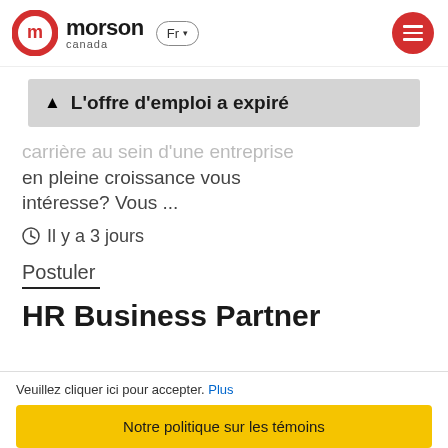[Figure (logo): Morson Canada logo with red circle M icon, text 'morson canada', language selector 'Fr', and red hamburger menu button]
⚠ L'offre d'emploi a expiré
carrière au sein d'une entreprise en pleine croissance vous intéresse? Vous ...
🕐 Il y a 3 jours
Postuler
HR Business Partner
Veuillez cliquer ici pour accepter. Plus
Notre politique sur les témoins